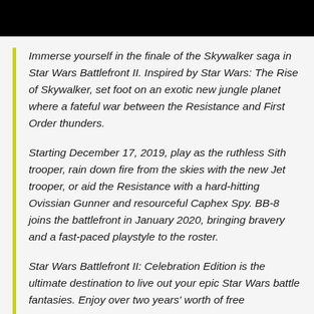[Figure (other): Black header bar at the top of the page]
Immerse yourself in the finale of the Skywalker saga in Star Wars Battlefront II. Inspired by Star Wars: The Rise of Skywalker, set foot on an exotic new jungle planet where a fateful war between the Resistance and First Order thunders.
Starting December 17, 2019, play as the ruthless Sith trooper, rain down fire from the skies with the new Jet trooper, or aid the Resistance with a hard-hitting Ovissian Gunner and resourceful Caphex Spy. BB-8 joins the battlefront in January 2020, bringing bravery and a fast-paced playstyle to the roster.
Star Wars Battlefront II: Celebration Edition is the ultimate destination to live out your epic Star Wars battle fantasies. Enjoy over two years' worth of free